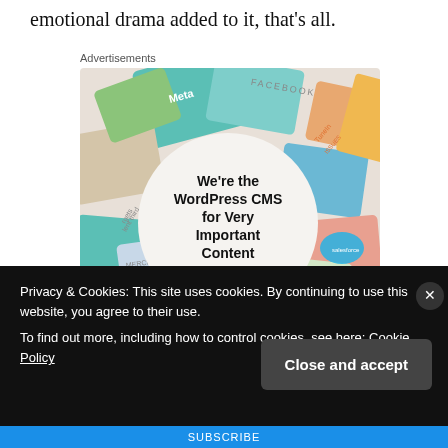emotional drama added to it, that's all.
Advertisements
[Figure (photo): WordPress VIP advertisement showing a collage of media brand logos (Meta, Facebook, Merck, Hachette, etc.) around a central circle with text: We're the WordPress CMS for Very Important Content, WordPress VIP logo, and a Learn more button.]
Privacy & Cookies: This site uses cookies. By continuing to use this website, you agree to their use.
To find out more, including how to control cookies, see here: Cookie Policy
Close and accept